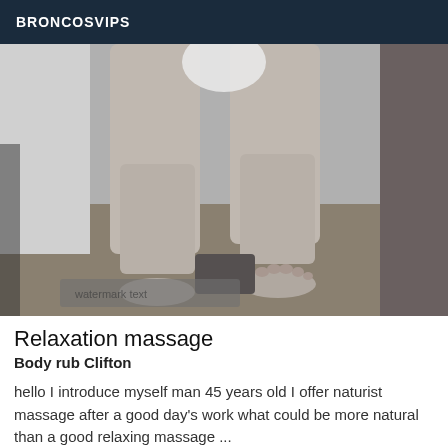BRONCOSVIPS
[Figure (photo): Black and white photo showing a person's legs and feet standing on a wooden floor, with a white wall in the background. The torso is cut off at the top. A blurred watermark is visible at the bottom left.]
Relaxation massage
Body rub Clifton
hello I introduce myself man 45 years old I offer naturist massage after a good day's work what could be more natural than a good relaxing massage ...